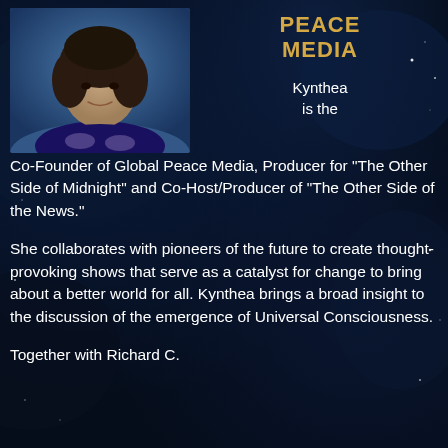[Figure (photo): Portrait photo of a woman with dark hair, wearing a dark blue patterned top, smiling, against a blue background]
PEACE MEDIA
Kynthea is the Co-Founder of Global Peace Media, Producer for "The Other Side of Midnight" and Co-Host/Producer of "The Other Side of the News."
She collaborates with pioneers of the future to create thought-provoking shows that serve as a catalyst for change to bring about a better world for all. Kynthea brings a broad insight to the discussion of the emergence of Universal Consciousness.
Together with Richard C.